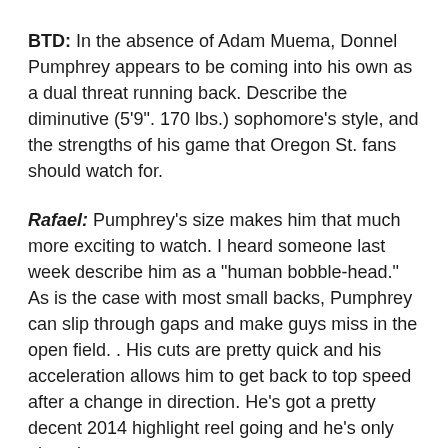BTD: In the absence of Adam Muema, Donnel Pumphrey appears to be coming into his own as a dual threat running back. Describe the diminutive (5'9". 170 lbs.) sophomore's style, and the strengths of his game that Oregon St. fans should watch for.
Rafael: Pumphrey's size makes him that much more exciting to watch. I heard someone last week describe him as a "human bobble-head." As is the case with most small backs, Pumphrey can slip through gaps and make guys miss in the open field. . His cuts are pretty quick and his acceleration allows him to get back to top speed after a change in direction. He's got a pretty decent 2014 highlight reel going and he's only played two games.